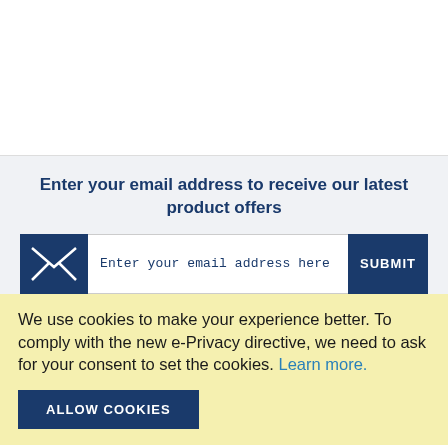Enter your email address to receive our latest product offers
Enter your email address here
We use cookies to make your experience better. To comply with the new e-Privacy directive, we need to ask for your consent to set the cookies. Learn more.
ALLOW COOKIES